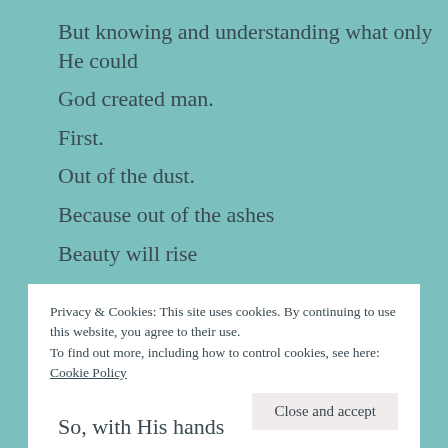But knowing and understanding what only He could
God created man.
First.
Out of the dust.
Because out of the ashes
Beauty will rise
Out of the dirt
God restores our lives.
Apart from His breath
We are dead
Privacy & Cookies: This site uses cookies. By continuing to use this website, you agree to their use.
To find out more, including how to control cookies, see here: Cookie Policy
Close and accept
So, with His hands